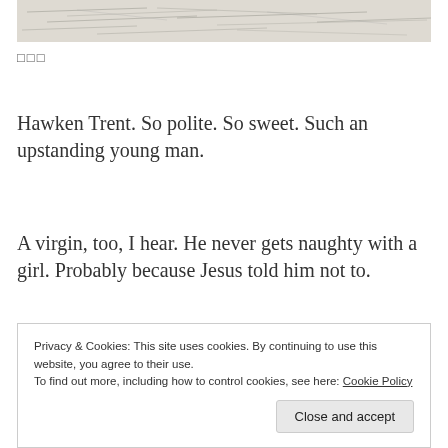[Figure (photo): Handwritten cursive text on paper, partially visible at top of page]
□□□
Hawken Trent. So polite. So sweet. Such an upstanding young man.
A virgin, too, I hear. He never gets naughty with a girl. Probably because Jesus told him not to.
And now here he is, trying to be the hero by protecting another girl from me.
Privacy & Cookies: This site uses cookies. By continuing to use this website, you agree to their use.
To find out more, including how to control cookies, see here: Cookie Policy
Close and accept